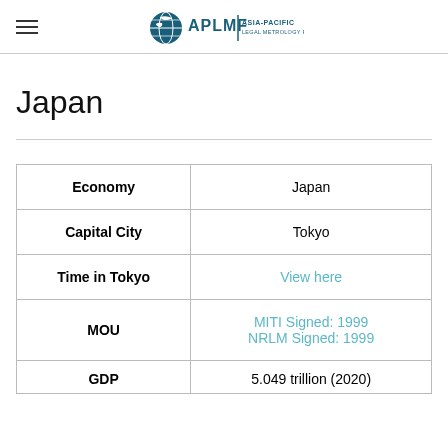APLMF ASIA-PACIFIC
Japan
| Economy | Japan |
| --- | --- |
| Capital City | Tokyo |
| Time in Tokyo | View here |
| MOU | MITI Signed: 1999
NRLM Signed: 1999 |
| GDP | 5.049 trillion (2020) |